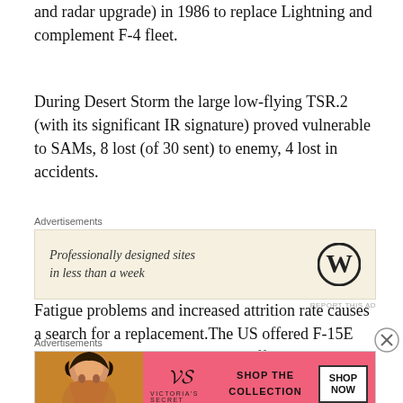and radar upgrade) in 1986 to replace Lightning and complement F-4 fleet.
During Desert Storm the large low-flying TSR.2 (with its significant IR signature) proved vulnerable to SAMs, 8 lost (of 30 sent) to enemy, 4 lost in accidents.
[Figure (other): Advertisement: WordPress - Professionally designed sites in less than a week]
Fatigue problems and increased attrition rate causes a search for a replacement.The US offered F-15E and second-hand F-111s, France offered Mirage 2000D/N derivative with UK systems, Sweden offered upgraded A 1
[Figure (other): Advertisement: Victoria's Secret - Shop The Collection]